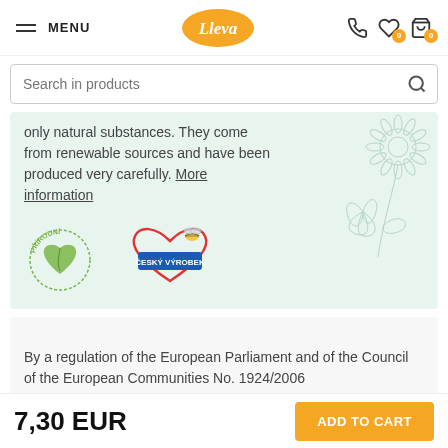MENU | Lleva logo | navigation icons
Search in products
only natural substances. They come from renewable sources and have been produced very carefully. More information
[Figure (logo): Přírodní badge (green leaf heart logo) and Český výrobek badge (red heart with bee and blue banner)]
By a regulation of the European Parliament and of the Council of the European Communities No. 1924/2006
7,30 EUR
ADD TO CART